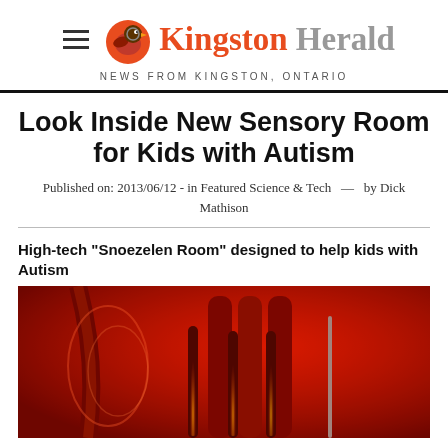Kingston Herald — NEWS FROM KINGSTON, ONTARIO
Look Inside New Sensory Room for Kids with Autism
Published on: 2013/06/12 - in Featured Science & Tech  —  by Dick Mathison
High-tech “Snoezelen Room” designed to help kids with Autism
[Figure (photo): Red-lit Snoezelen sensory room with glowing bubble tubes and curved foam panels, illuminated in deep red lighting.]